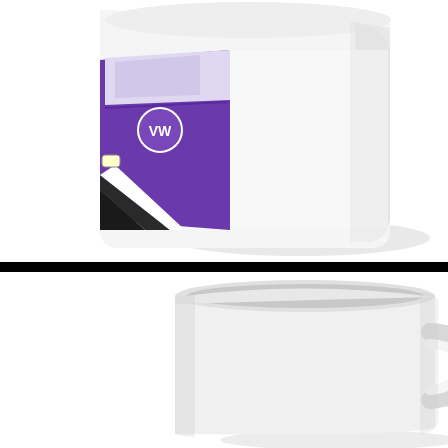[Figure (photo): Top view of a white ceramic coffee mug showing the front/side angle. The mug has a purple graphic design featuring what appears to be a VW-style van/bus illustration with black and white accents visible on the left side of the mug. The mug is photographed on a white background with soft shadow beneath.]
[Figure (photo): Side/back view of the same white ceramic coffee mug showing the handle on the right side. The mug appears plain white from this angle with no visible design. The inside rim of the mug is visible at the top. Photographed on a white background.]